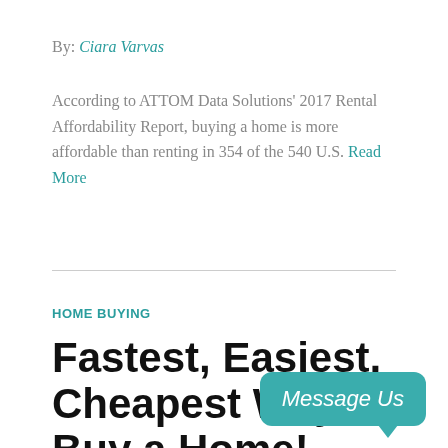By: Ciara Varvas
According to ATTOM Data Solutions' 2017 Rental Affordability Report, buying a home is more affordable than renting in 354 of the 540 U.S. Read More
HOME BUYING
Fastest, Easiest, Cheapest Way to Buy a Home!